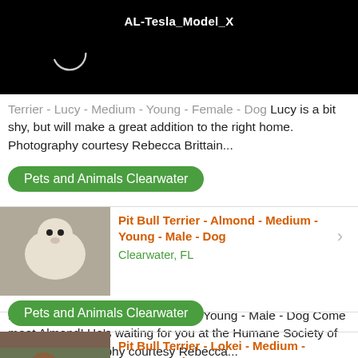[Figure (screenshot): Black header bar with text AL-Tesla_Model_X and a loading spinner circle]
Terrier - Lucy - Medium - Young - Female - Dog Lucy is a bit shy, but will make a great addition to the right home. Photography courtesy Rebecca Brittain...
Pets and Animals Clearwater
[Figure (photo): White Pit Bull Terrier dog named Almond sitting and looking up at camera]
Pit Bull Terrier - Almond - Medium - Young - Male - Dog
Clearwater, FL
Pit Bull Terrier - Almond - Medium - Young - Male - Dog Come meet Almond! He's waiting for you at the Humane Society of Pinellas Photography courtesy Rebecca...
Pets and Animals Clearwater
[Figure (photo): Brown Pit Bull Terrier dog named Lokei outdoors among trees]
Pit Bull Terrier - Lokei - Medium - Young - Male - Dog
Clearwater, FL